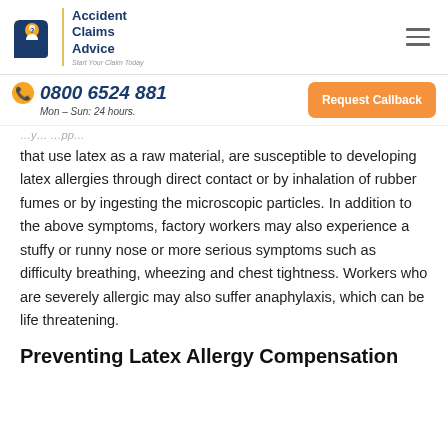Accident Claims Advice — Start Your Claim Today
0800 6524 881 Mon – Sun: 24 hours. Request Callback
that use latex as a raw material, are susceptible to developing latex allergies through direct contact or by inhalation of rubber fumes or by ingesting the microscopic particles. In addition to the above symptoms, factory workers may also experience a stuffy or runny nose or more serious symptoms such as difficulty breathing, wheezing and chest tightness. Workers who are severely allergic may also suffer anaphylaxis, which can be life threatening.
Preventing Latex Allergy Compensation